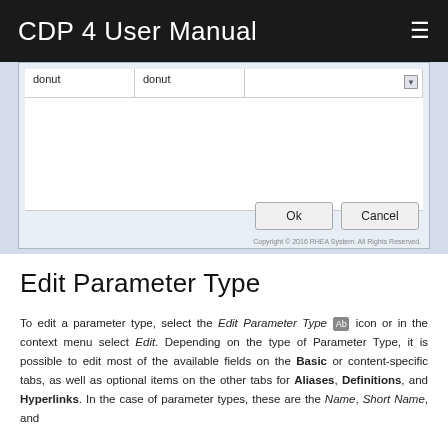CDP 4 User Manual
[Figure (screenshot): A dialog box showing a table row with 'donut' in two columns and a dropdown arrow, an empty white area below, Ok and Cancel buttons, and a copyright notice reading 'Copyright © 2016 RHEA System. All Rights Reserved.']
Edit Parameter Type
To edit a parameter type, select the Edit Parameter Type [icon] icon or in the context menu select Edit. Depending on the type of Parameter Type, it is possible to edit most of the available fields on the Basic or content-specific tabs, as well as optional items on the other tabs for Aliases, Definitions, and Hyperlinks. In the case of parameter types, these are the Name, Short Name, and